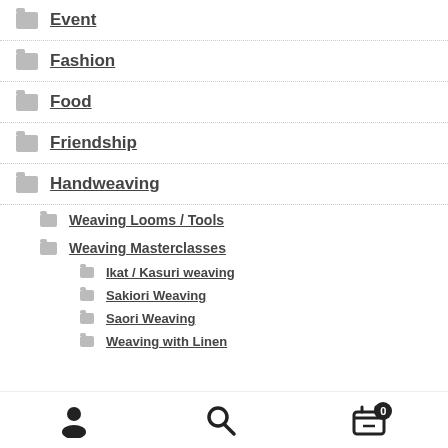Event
Fashion
Food
Friendship
Handweaving
Weaving Looms / Tools
Weaving Masterclasses
Ikat / Kasuri weaving
Sakiori Weaving
Saori Weaving
Weaving with Linen